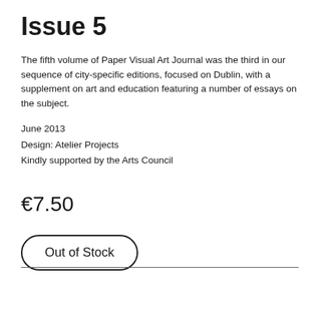Issue 5
The fifth volume of Paper Visual Art Journal was the third in our sequence of city-specific editions, focused on Dublin, with a supplement on art and education featuring a number of essays on the subject.
June 2013
Design: Atelier Projects
Kindly supported by the Arts Council
€7.50
Out of Stock